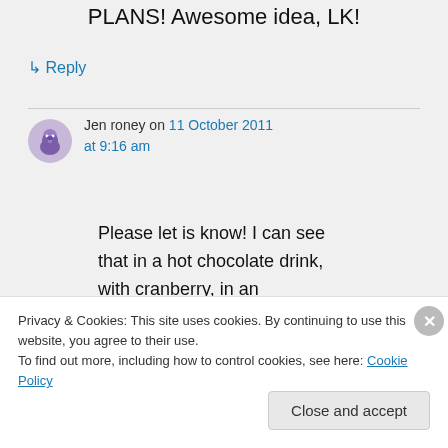PLANS! Awesome idea, LK!
↳ Reply
Jen roney on 11 October 2011 at 9:16 am
Please let is know! I can see that in a hot chocolate drink, with cranberry, in an espresso martini…..
Privacy & Cookies: This site uses cookies. By continuing to use this website, you agree to their use.
To find out more, including how to control cookies, see here: Cookie Policy
Close and accept